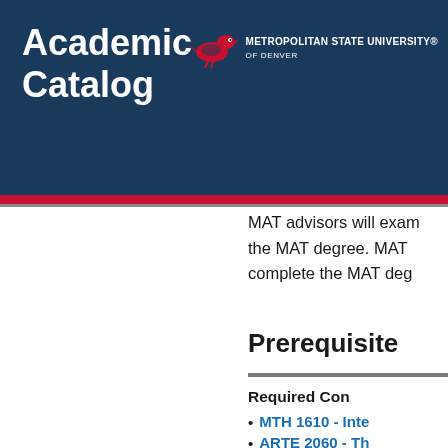Academic Catalog
MAT advisors will examine the MAT degree. MAT complete the MAT degree.
Prerequisite
Required Con
MTH 1610 - Inte
ARTE 2060 - Th
Required Licen